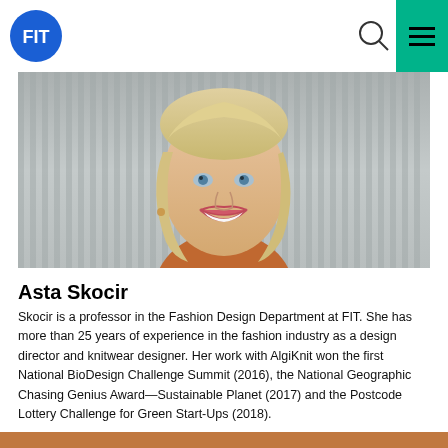FIT
[Figure (photo): Headshot photo of Asta Skocir, a woman with blonde hair, smiling, against a grey corrugated metal background]
Asta Skocir
Skocir is a professor in the Fashion Design Department at FIT. She has more than 25 years of experience in the fashion industry as a design director and knitwear designer. Her work with AlgiKnit won the first National BioDesign Challenge Summit (2016), the National Geographic Chasing Genius Award—Sustainable Planet (2017) and the Postcode Lottery Challenge for Green Start-Ups (2018).